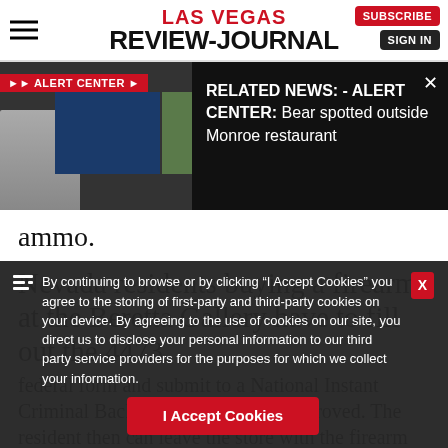LAS VEGAS REVIEW-JOURNAL
[Figure (screenshot): Video player showing a news anchor in front of a screen with Alert Center banner; related news text overlay on black background.]
RELATED NEWS: - ALERT CENTER: Bear spotted outside Monroe restaurant
ammo.
Nevada residents buying a firearm at the Beretta Gallery have to fill out the 4473
federal form and submit to a National Instant Criminal Background Check II... approved. The resident then can leave the store with the firearm disassembled and apped in disc...g. Out-of-state
By continuing to browse or by clicking “I Accept Cookies” you agree to the storing of first-party and third-party cookies on your device. By agreeing to the use of cookies on our site, you direct us to disclose your personal information to our third party service providers for the purposes for which we collect your information.
I Accept Cookies